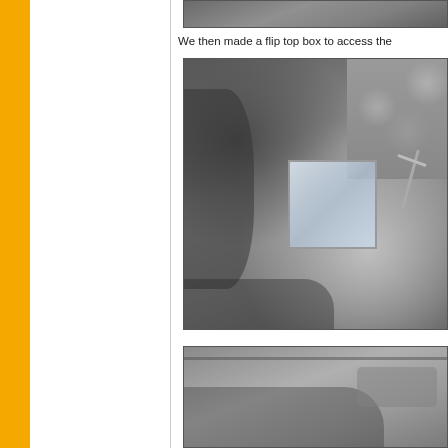[Figure (photo): Top partial photo showing metal fabrication work, cropped at top of page]
We then made a flip top box to access the
[Figure (photo): Photo showing a flip top metal box with glass/acrylic panel inside a large metal pot surrounded by rocks, with hardware visible]
[Figure (photo): Bottom partial photo showing metal container or pot, cropped at bottom of page]